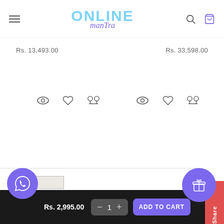Online Mantra — navigation header with hamburger menu, logo, search and cart icons
Rs. 13,493.00   Rs. 33,598.00 (partial price strip)
[Figure (screenshot): Row of product action icons: eye (view), heart (wishlist), scale (compare) repeated twice for two products]
QUICK LINKS
PRODUCT CATEGORIES
Rs. 2,995.00
[Figure (screenshot): Bottom sticky bar with WhatsApp bubble, price Rs. 2,995.00, quantity selector (– 1 +), ADD TO CART button, and gift bubble. Share tab on right edge.]